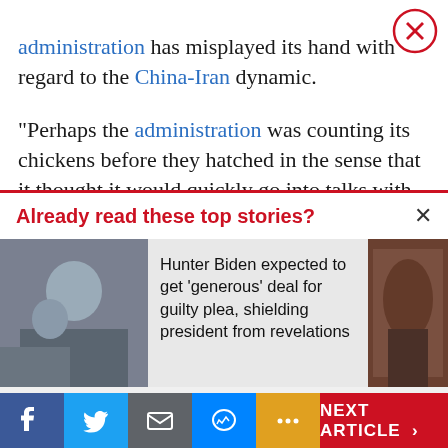administration has misplayed its hand with regard to the China-Iran dynamic.
“Perhaps the administration was counting its chickens before they hatched in the sense that it thought it would quickly go into talks with Iran and maybe it didn’t want to rock the boat over China’s purchases of Iranian oil,” he said.
“I gave the administration credit for making it
Already read these top stories?
Hunter Biden expected to get ‘generous’ deal for guilty plea, shielding president from revelations
NEXT ARTICLE ›